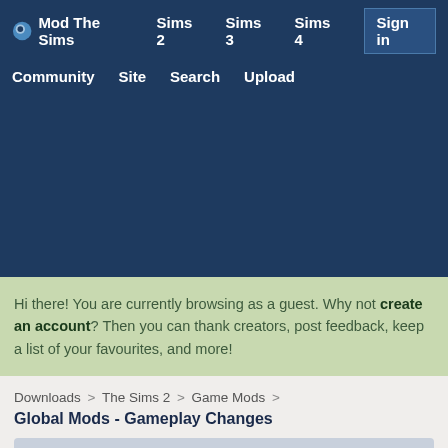Mod The Sims  Sims 2  Sims 3  Sims 4  Sign in  Community  Site  Search  Upload
[Figure (screenshot): Dark blue banner/advertisement area]
Hi there! You are currently browsing as a guest. Why not create an account? Then you can thank creators, post feedback, keep a list of your favourites, and more!
Downloads > The Sims 2 > Game Mods >
Global Mods - Gameplay Changes
MTS has all free content, all the time. Find out how YOU